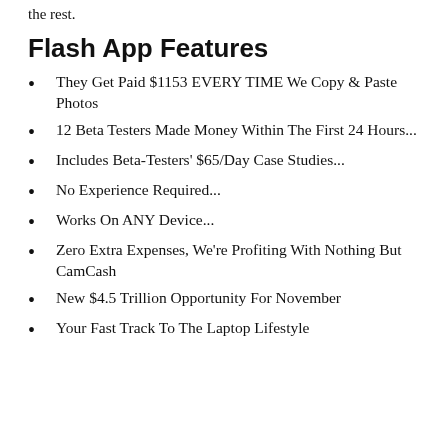the rest.
Flash App Features
They Get Paid $1153 EVERY TIME We Copy & Paste Photos
12 Beta Testers Made Money Within The First 24 Hours...
Includes Beta-Testers' $65/Day Case Studies...
No Experience Required...
Works On ANY Device...
Zero Extra Expenses, We're Profiting With Nothing But CamCash
New $4.5 Trillion Opportunity For November
Your Fast Track To The Laptop Lifestyle